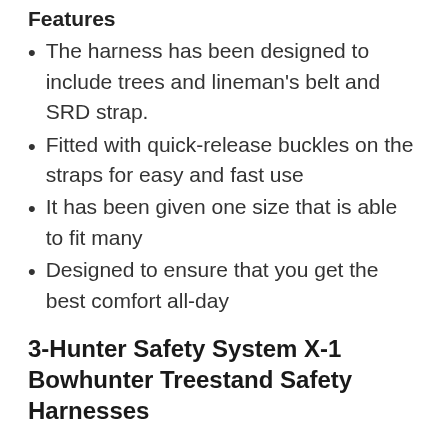Features
The harness has been designed to include trees and lineman's belt and SRD strap.
Fitted with quick-release buckles on the straps for easy and fast use
It has been given one size that is able to fit many
Designed to ensure that you get the best comfort all-day
3-Hunter Safety System X-1 Bowhunter Treestand Safety Harnesses
[Figure (photo): Photo of Hunter Safety System X-1 Bowhunter Treestand Safety Harness product, partially visible at bottom of page]